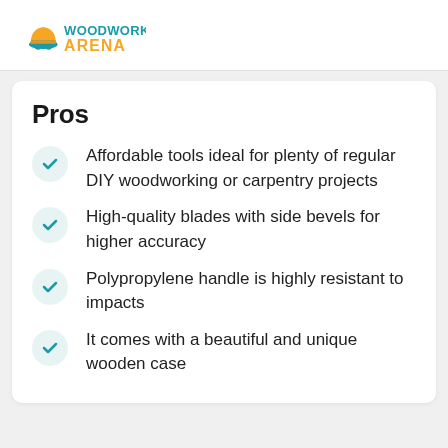Woodworking Arena
Pros
Affordable tools ideal for plenty of regular DIY woodworking or carpentry projects
High-quality blades with side bevels for higher accuracy
Polypropylene handle is highly resistant to impacts
It comes with a beautiful and unique wooden case